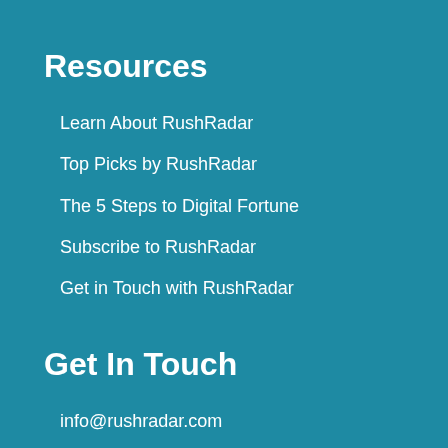Resources
Learn About RushRadar
Top Picks by RushRadar
The 5 Steps to Digital Fortune
Subscribe to RushRadar
Get in Touch with RushRadar
Get In Touch
info@rushradar.com
articles@rushradar.com
reviews@rushradar.com